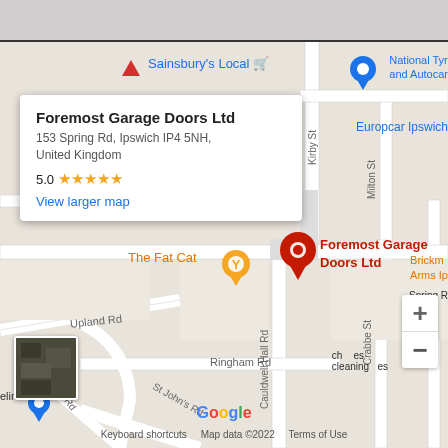[Figure (screenshot): Google Maps screenshot showing the location of Foremost Garage Doors Ltd at 153 Spring Rd, Ipswich IP4 5NH, United Kingdom. The map shows surrounding streets including Tovells Rd, Upland Rd, Ringham Rd, St John's Rd, Cauldwell Hall Rd, Crabbe St, Cowper St, Milton St, Kirby St. Nearby landmarks include Sainsbury's Local, National Tyre and Autocar, Europcar Ipswich, The Fat Cat, Brickmakers Arms Ipswich. A red location pin marks Foremost Garage Doors Ltd. An info box shows the business name, address, 5.0 star rating, and a 'View larger map' link.]
Foremost Garage Doors Ltd
153 Spring Rd, Ipswich IP4 5NH, United Kingdom
5.0 ★★★★★
View larger map
Keyboard shortcuts   Map data ©2022   Terms of Use